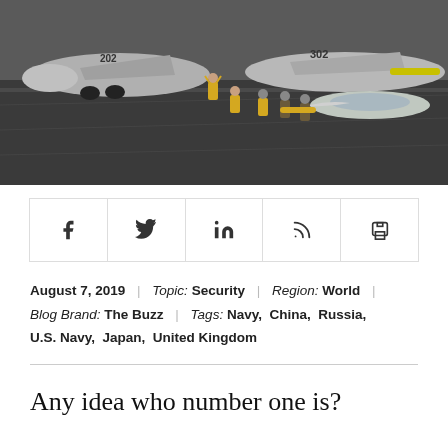[Figure (photo): Aerial view of aircraft carrier deck with fighter jets (number 202 and 302 visible) and crew members in yellow vests directing operations]
[Figure (infographic): Social sharing bar with icons for Facebook, Twitter, LinkedIn, RSS feed, and Print]
August 7, 2019 | Topic: Security | Region: World | Blog Brand: The Buzz | Tags: Navy, China, Russia, U.S. Navy, Japan, United Kingdom
Any idea who number one is?